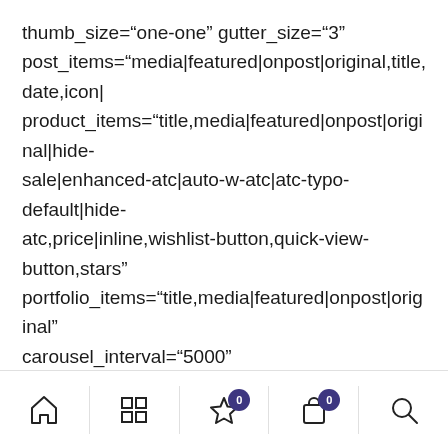thumb_size="one-one" gutter_size="3" post_items="media|featured|onpost|original,title,date,icon| product_items="title,media|featured|onpost|original|hide-sale|enhanced-atc|auto-w-atc|atc-typo-default|hide-atc,price|inline,wishlist-button,quick-view-button,stars" portfolio_items="title,media|featured|onpost|original" carousel_interval="5000" carousel_navspeed="700" carousel_loop="yes" carousel_overflow="yes" carousel_dots_mobile="yes" carousel_pointer_events="yes" stage_padding="0" single_overlay_color="color-jevc" single_overlay_opacity="10" single_text_anim="no" single_image_anim="no" single_h_align="center" single_h_align_mobile="center" single_padding="1"
[Figure (other): Mobile bottom navigation bar with home, grid, wishlist (badge 0), cart (badge 0), and search icons]